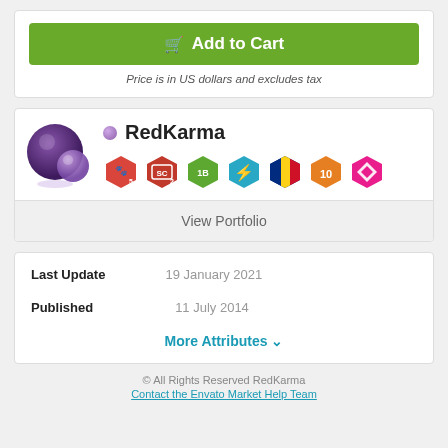[Figure (other): Green Add to Cart button with shopping cart icon]
Price is in US dollars and excludes tax
[Figure (other): RedKarma author profile with avatar and achievement badges]
View Portfolio
Last Update  19 January 2021
Published  11 July 2014
More Attributes
© All Rights Reserved RedKarma
Contact the Envato Market Help Team